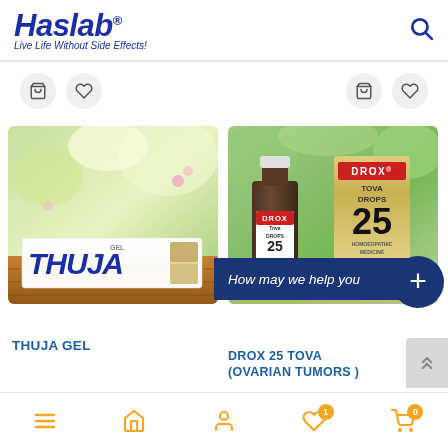Haslab® — Live Life Without Side Effects!
[Figure (photo): Thuja Gel product image with outdoor garden background and wooden surface]
[Figure (photo): DROX 25 Tova Drops product image with bottle and box on green background]
THUJA GEL
DROX 25 TOVA (OVARIAN TUMORS )
How may we help you
Navigation bar with menu, home, profile, wishlist (1), cart (0)